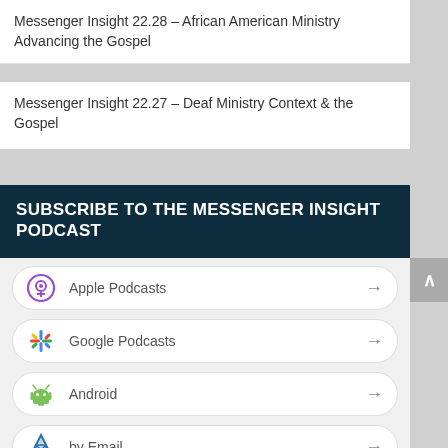Messenger Insight 22.28 – African American Ministry Advancing the Gospel
Messenger Insight 22.27 – Deaf Ministry Context & the Gospel
SUBSCRIBE TO THE MESSENGER INSIGHT PODCAST
Apple Podcasts
Google Podcasts
Android
by Email